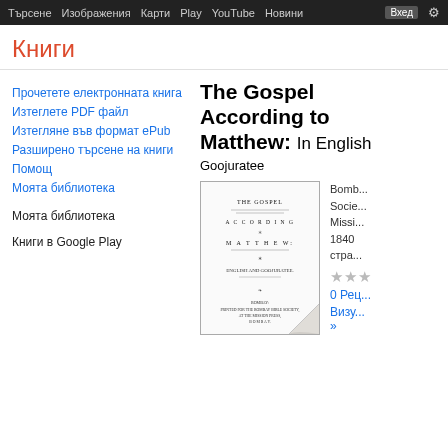Търсене   Изображения   Карти   Play   YouTube   Новини   Вход   (settings icon)
Книги
Прочетете електронната книга
Изтеглете PDF файл
Изтегляне във формат ePub
Разширено търсене на книги
Помощ
Моята библиотека
Моята библиотека
Книги в Google Play
The Gospel According to Matthew: In English Goojuratee
[Figure (illustration): Book cover of The Gospel According to Matthew showing the title page with text 'THE GOSPEL ACCORDING TO MATTHEW' and 'PRINTED FOR THE BOMBAY BIBLE SOCIETY AT THE MISSION PRESS BOMBAY' with a page-curl effect at bottom right.]
Bomb... Socie... Missi... 1840 стра...
★★★
0 Рец...
Визу... »